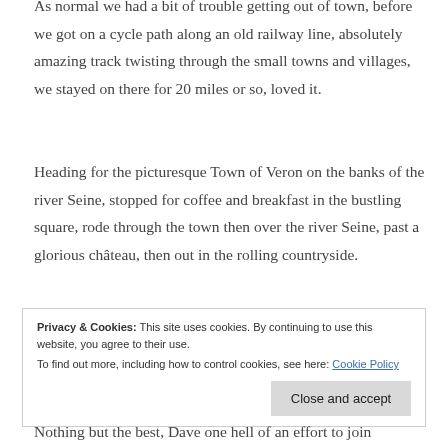As normal we had a bit of trouble getting out of town, before we got on a cycle path along an old railway line, absolutely amazing track twisting through the small towns and villages, we stayed on there for 20 miles or so, loved it.
Heading for the picturesque Town of Veron on the banks of the river Seine, stopped for coffee and breakfast in the bustling square, rode through the town then over the river Seine, past a glorious château, then out in the rolling countryside.
Privacy & Cookies: This site uses cookies. By continuing to use this website, you agree to their use. To find out more, including how to control cookies, see here: Cookie Policy
Nothing but the best, Dave one hell of an effort to join